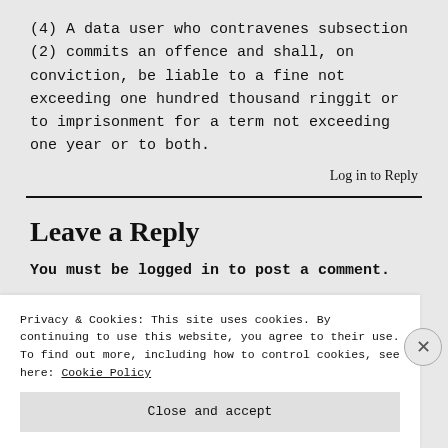(4) A data user who contravenes subsection (2) commits an offence and shall, on conviction, be liable to a fine not exceeding one hundred thousand ringgit or to imprisonment for a term not exceeding one year or to both.
Log in to Reply
Leave a Reply
You must be logged in to post a comment.
Privacy & Cookies: This site uses cookies. By continuing to use this website, you agree to their use.
To find out more, including how to control cookies, see here: Cookie Policy
Close and accept